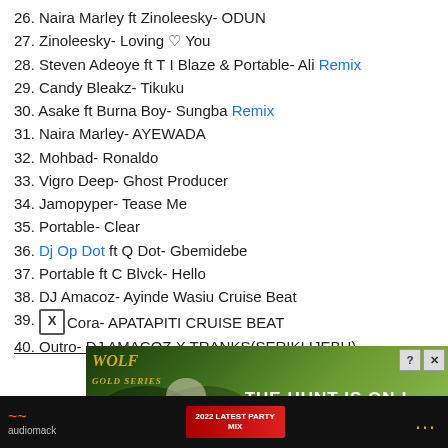26. Naira Marley ft Zinoleesky- ODUN
27. Zinoleesky- Loving ♡ You
28. Steven Adeoye ft T I Blaze & Portable- Ali Remix
29. Candy Bleakz- Tikuku
30. Asake ft Burna Boy- Sungba Remix
31. Naira Marley- AYEWADA
32. Mohbad- Ronaldo
33. Vigro Deep- Ghost Producer
34. Jamopyper- Tease Me
35. Portable- Clear
36. Dj Op Dot ft Q Dot- Gbemidebe
37. Portable ft C Blvck- Hello
38. DJ Amacoz- Ayinde Wasiu Cruise Beat
39. DjCora- APATAPITI CRUISE BEAT
40. Outro- DJ AMACOZ X TRANKS(SERIKI IJEBU)
[Figure (screenshot): Advertisement overlay showing wolf image with text 'THE HUNT IS ON!' and close/help buttons]
[Figure (screenshot): Bottom navigation/player bar with audiomack logo, party banner, and orange dots menu]